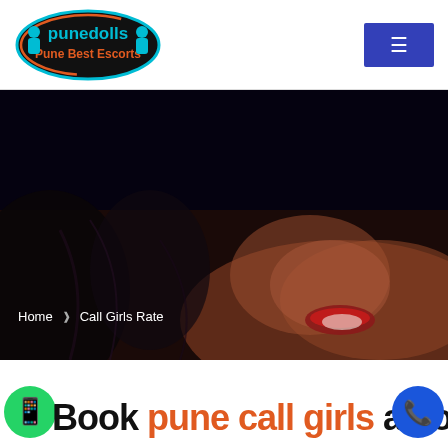[Figure (logo): Punedolls Pune Best Escorts logo — oval shape with teal/cyan border and orange bottom border, teal text 'punedolls' and orange text 'Pune Best Escorts', decorative figures on sides]
[Figure (other): Blue/navy rectangular button with white icon (menu/hamburger symbol) in the top-right header area]
[Figure (photo): Dark hero banner image showing a woman's face with red lipstick against a dark background]
Home » Call Girls Rate
Book pune call girls at lowest